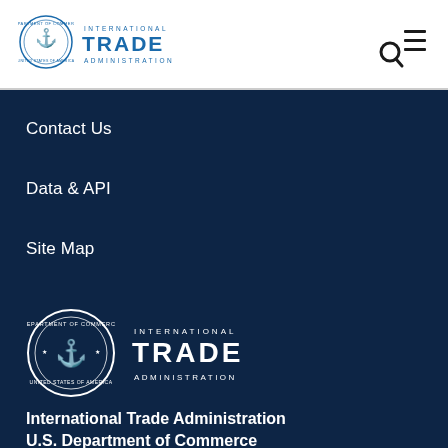[Figure (logo): Department of Commerce seal and International Trade Administration logo in blue, in white header bar]
[Figure (logo): Search and hamburger menu icons in top right of header]
Contact Us
Data & API
Site Map
[Figure (logo): Department of Commerce seal (white) and International Trade Administration logo (white) in navy footer area]
International Trade Administration
U.S. Department of Commerce
1401 Constitution Ave NW
Washington, DC 20230